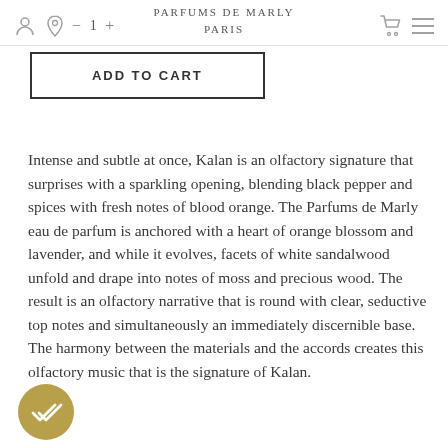PARFUMS de MARLY PARIS
ADD TO CART
Intense and subtle at once, Kalan is an olfactory signature that surprises with a sparkling opening, blending black pepper and spices with fresh notes of blood orange. The Parfums de Marly eau de parfum is anchored with a heart of orange blossom and lavender, and while it evolves, facets of white sandalwood unfold and drape into notes of moss and precious wood. The result is an olfactory narrative that is round with clear, seductive top notes and simultaneously an immediately discernible base. The harmony between the materials and the accords creates this olfactory music that is the signature of Kalan.
[Figure (other): Gold circular badge with double-check/verified icon]